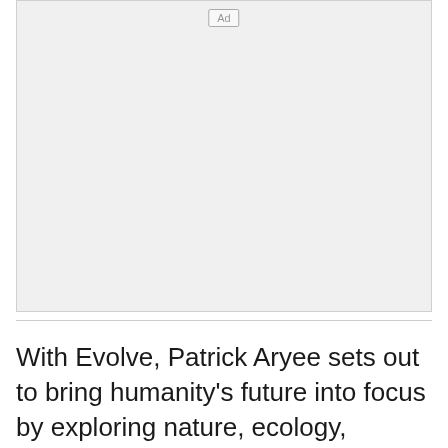[Figure (other): Advertisement placeholder box with 'Ad' label at top center, light gray background]
With Evolve, Patrick Aryee sets out to bring humanity's future into focus by exploring nature, ecology, science and tech like never before. The series has set to become a rising star in the